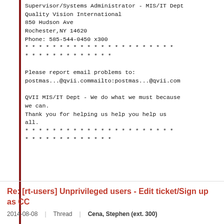Supervisor/Systems Administrator - MIS/IT Dept
Quality Vision International
850 Hudson Ave
Rochester,NY 14620
Phone: 585-544-0450 x300
* * * * * * * * * * * * * * * * * * * * * *
* * * * * * * * * * * * *

Please report email problems to:
postmas...@qvii.commailto:postmas...@qvii.com

QVII MIS/IT Dept - We do what we must because we can.
Thank you for helping us help you help us all.
* * * * * * * * * * * * * * * * * * * * * *
* * * * * * * * * * * * *
Re: [rt-users] Unprivileged users - Edit ticket/Sign up as CC
2014-08-08  Thread  Cena, Stephen (ext. 300)